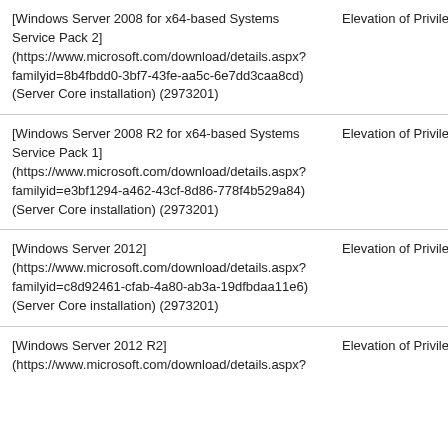| [Windows Server 2008 for x64-based Systems Service Pack 2] (https://www.microsoft.com/download/details.aspx?familyid=8b4fbdd0-3bf7-43fe-aa5c-6e7dd3caa8cd) (Server Core installation) (2973201) | Elevation of Privilege |
| [Windows Server 2008 R2 for x64-based Systems Service Pack 1] (https://www.microsoft.com/download/details.aspx?familyid=e3bf1294-a462-43cf-8d86-778f4b529a84) (Server Core installation) (2973201) | Elevation of Privilege |
| [Windows Server 2012] (https://www.microsoft.com/download/details.aspx?familyid=c8d92461-cfab-4a80-ab3a-19dfbdaa11e6) (Server Core installation) (2973201) | Elevation of Privilege |
| [Windows Server 2012 R2] (https://www.microsoft.com/download/details.aspx? | Elevation of Privilege |